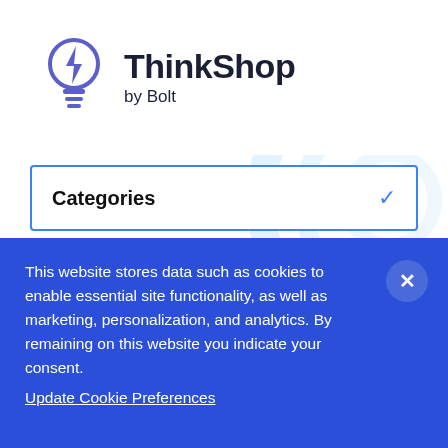[Figure (logo): ThinkShop by Bolt logo — light bulb icon in purple/blue outline with a lightning bolt inside, next to bold text 'ThinkShop' and subtitle 'by Bolt']
Categories
How to Perfect Abandoned Cart Email
This website stores data such as cookies to enable essential site functionality, as well as marketing, personalization, and analytics. By remaining on this website you indicate your consent. Update Cookie Preferences